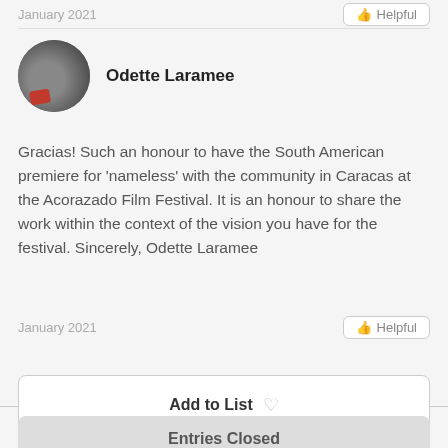January 2021
Odette Laramee
Gracias! Such an honour to have the South American premiere for 'nameless' with the community in Caracas at the Acorazado Film Festival. It is an honour to share the work within the context of the vision you have for the festival. Sincerely, Odette Laramee
January 2021
Add to List
Entries Closed